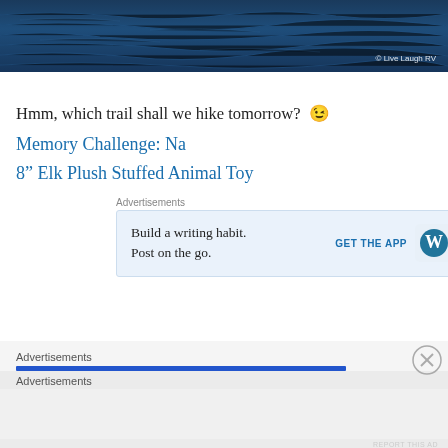[Figure (photo): Dark blue textured water/ocean surface background image used as a header banner]
© Live Laugh RV
Hmm, which trail shall we hike tomorrow? 😉
Memory Challenge: Na
8" Elk Plush Stuffed Animal Toy
Advertisements
[Figure (screenshot): WordPress advertisement: Build a writing habit. Post on the go. GET THE APP with WordPress logo]
REPORT THIS AD
Advertisements
Advertisements